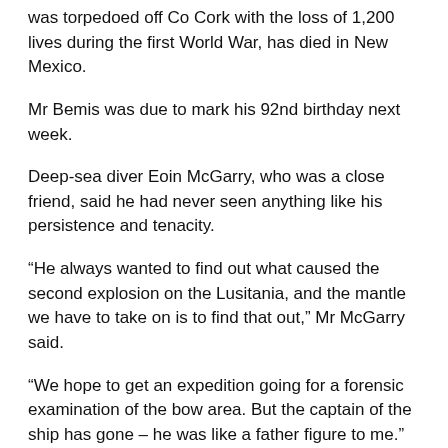was torpedoed off Co Cork with the loss of 1,200 lives during the first World War, has died in New Mexico.
Mr Bemis was due to mark his 92nd birthday next week.
Deep-sea diver Eoin McGarry, who was a close friend, said he had never seen anything like his persistence and tenacity.
“He always wanted to find out what caused the second explosion on the Lusitania, and the mantle we have to take on is to find that out,” Mr McGarry said.
“We hope to get an expedition going for a forensic examination of the bow area. But the captain of the ship has gone – he was like a father figure to me.”
In 2016, Mr McGarry retrieved one of the telegraph machines from the ship under license from the Department of Heritage.
Bemis, who dove on the wreck at the of 76, acquired joint